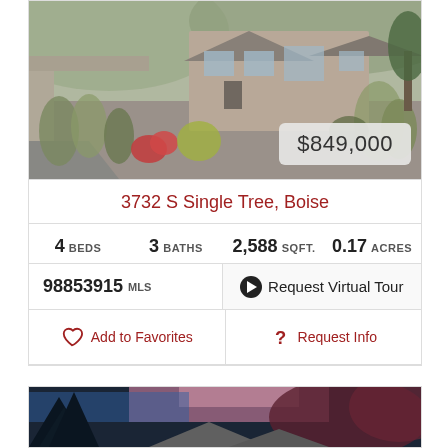[Figure (photo): Exterior photo of a modern single-story home with xeriscaped front yard, gravel landscaping, ornamental grasses, and red flowering plants. Price badge showing $849,000 in bottom-right corner.]
3732 S Single Tree, Boise
4 BEDS   3 BATHS   2,588 SQFT.   0.17 ACRES
98853915 MLS   ▶ Request Virtual Tour
♡ Add to Favorites   ? Request Info
[Figure (photo): Exterior photo of a house at dusk/twilight with pine trees in foreground and colorful sky in background.]